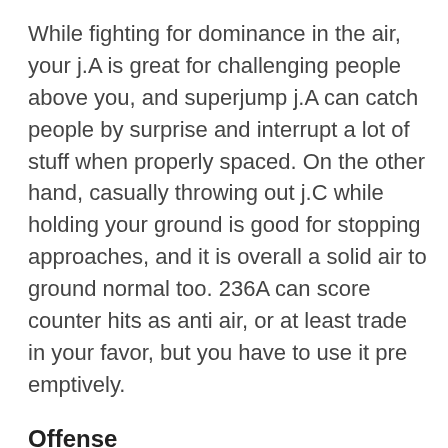While fighting for dominance in the air, your j.A is great for challenging people above you, and superjump j.A can catch people by surprise and interrupt a lot of stuff when properly spaced. On the other hand, casually throwing out j.C while holding your ground is good for stopping approaches, and it is overall a solid air to ground normal too. 236A can score counter hits as anti air, or at least trade in your favor, but you have to use it pre emptively.
Offense